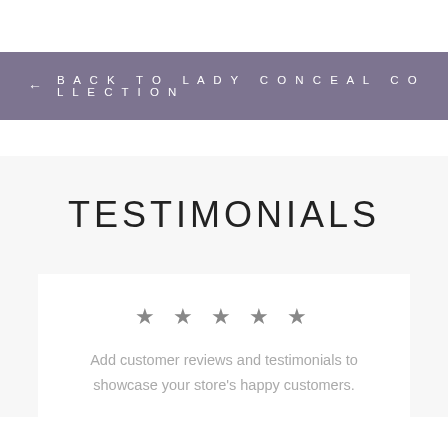← BACK TO LADY CONCEAL COLLECTION
TESTIMONIALS
★ ★ ★ ★ ★
Add customer reviews and testimonials to showcase your store's happy customers.